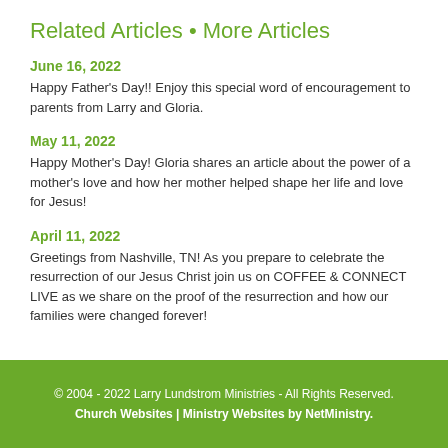Related Articles • More Articles
June 16, 2022
Happy Father's Day!! Enjoy this special word of encouragement to parents from Larry and Gloria.
May 11, 2022
Happy Mother's Day! Gloria shares an article about the power of a mother's love and how her mother helped shape her life and love for Jesus!
April 11, 2022
Greetings from Nashville, TN! As you prepare to celebrate the resurrection of our Jesus Christ join us on COFFEE & CONNECT LIVE as we share on the proof of the resurrection and how our families were changed forever!
© 2004 - 2022 Larry Lundstrom Ministries - All Rights Reserved. Church Websites | Ministry Websites by NetMinistry.